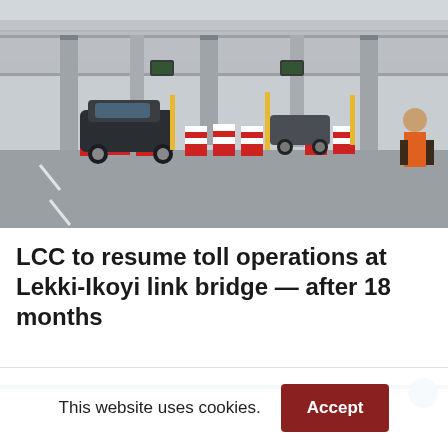[Figure (photo): A toll gate/plaza with red and white striped barriers/bollards, vehicles including a dark SUV, a canopy roof overhead, and a person in an orange vest visible on the right side. The scene appears to be at the Lekki-Ikoyi link bridge toll booth.]
LCC to resume toll operations at Lekki-Ikoyi link bridge — after 18 months
This website uses cookies.